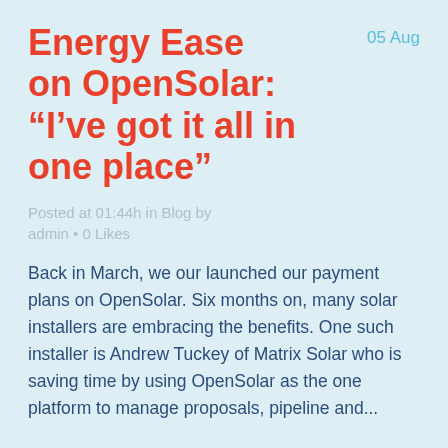Energy Ease on OpenSolar: “I’ve got it all in one place”
05 Aug
Posted at 01:44h in Blog by admin • 0 Likes
Back in March, we our launched our payment plans on OpenSolar. Six months on, many solar installers are embracing the benefits. One such installer is Andrew Tuckey of Matrix Solar who is saving time by using OpenSolar as the one platform to manage proposals, pipeline and...